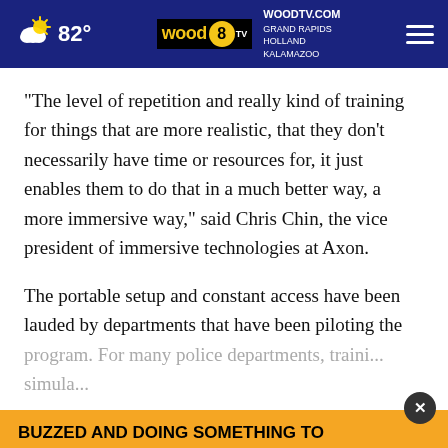82° | WOODTV.COM GRAND RAPIDS HOLLAND KALAMAZOO | wood8tv
“The level of repetition and really kind of training for things that are more realistic, that they don’t necessarily have time or resources for, it just enables them to do that in a much better way, a more immersive way,” said Chris Chin, the vice president of immersive technologies at Axon.
The portable setup and constant access have been lauded by departments that have been piloting the program. For many police departments, training simula...
[Figure (screenshot): Advertisement banner: BUZZED AND DOING SOMETHING TO MAKE YOURSELF OKAY TO DRIVE?]